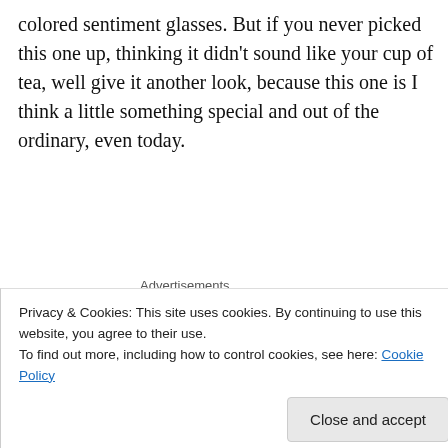colored sentiment glasses. But if you never picked this one up, thinking it didn’t sound like your cup of tea, well give it another look, because this one is I think a little something special and out of the ordinary, even today.
[Figure (other): Goodreads 'Add book' button with 'g |' logo prefix]
Advertisements
[Figure (other): Advertisement banner with beige background reading 'Professionally designed sites in less than a week']
Privacy & Cookies: This site uses cookies. By continuing to use this website, you agree to their use.
To find out more, including how to control cookies, see here: Cookie Policy